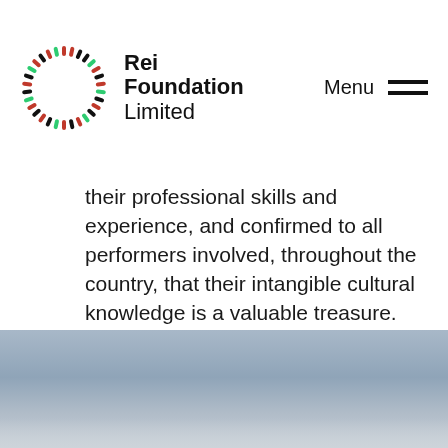Rei Foundation Limited  Menu
their professional skills and experience, and confirmed to all performers involved, throughout the country, that their intangible cultural knowledge is a valuable treasure. In archiving hundreds of Malawi folksongs which may otherwise have been lost, the project celebrates both the songs, and the people who sing them.
[Figure (photo): Sky photograph showing a blue-grey sky with light clouds near the horizon, lower portion of the image]